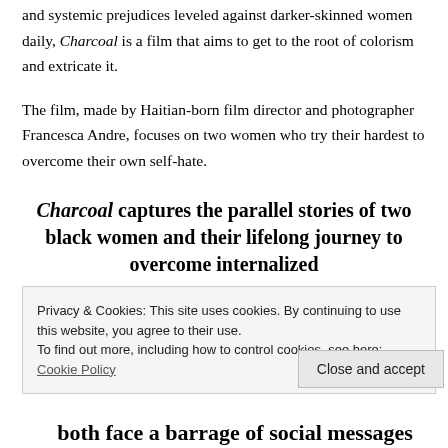and systemic prejudices leveled against darker-skinned women daily, Charcoal is a film that aims to get to the root of colorism and extricate it.
The film, made by Haitian-born film director and photographer Francesca Andre, focuses on two women who try their hardest to overcome their own self-hate.
Charcoal captures the parallel stories of two black women and their lifelong journey to overcome internalized
Privacy & Cookies: This site uses cookies. By continuing to use this website, you agree to their use. To find out more, including how to control cookies, see here: Cookie Policy
Close and accept
both face a barrage of social messages